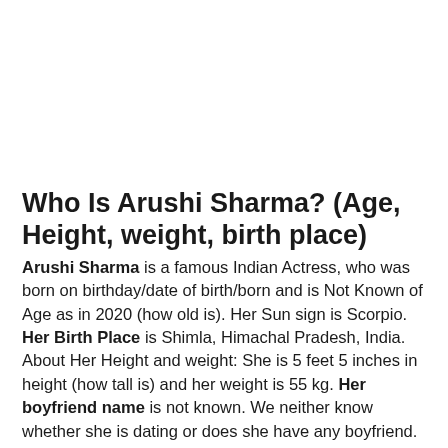Who Is Arushi Sharma? (Age, Height, weight, birth place)
Arushi Sharma is a famous Indian Actress, who was born on birthday/date of birth/born and is Not Known of Age as in 2020 (how old is). Her Sun sign is Scorpio. Her Birth Place is Shimla, Himachal Pradesh, India. About Her Height and weight: She is 5 feet 5 inches in height (how tall is) and her weight is 55 kg. Her boyfriend name is not known. We neither know whether she is dating or does she have any boyfriend. She like to keep her personal life secret. She Follows Hinduism as her Religion. Her nationality is Indian. Her eye color is Hazel Brown and her hair color is Brown. She became famous and well known in the song Chali.